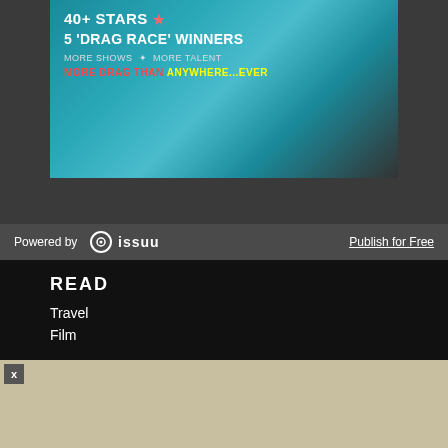[Figure (photo): Advertisement image with teal/cyan background showing text: '40+ STARS, 5 DRAG RACE WINNERS, MORE SHOWS, MORE TALENT, MORE DRAG THAN ANYWHERE...EVER']
Powered by issuu
Publish for Free
READ
Travel
Film